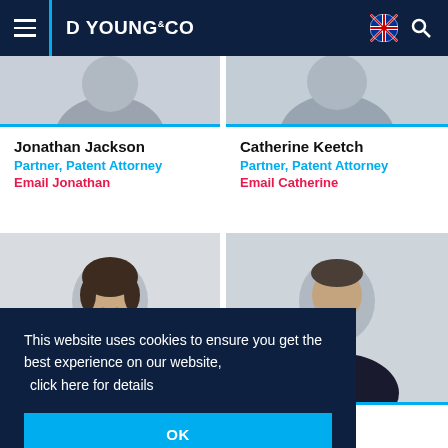D YOUNG & CO
[Figure (photo): Partial photo of Jonathan Jackson, cropped at top]
[Figure (photo): Partial photo of Catherine Keetch, cropped at top]
Jonathan Jackson
Partner, Patent Attorney
Email Jonathan
Catherine Keetch
Partner, Patent Attorney
Email Catherine
[Figure (photo): Photo of a woman (smiling) - second row left person]
[Figure (photo): Photo of a man in suit - second row right person]
This website uses cookies to ensure you get the best experience on our website, click here for details
OK
Attorney